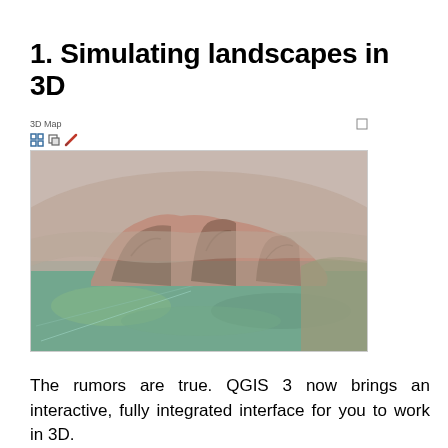1. Simulating landscapes in 3D
[Figure (screenshot): A QGIS 3D Map window showing an aerial 3D view of Uluru (Ayers Rock) in Australia, rendered with terrain elevation and satellite imagery. The window has a toolbar with icons and is labeled '3D Map'.]
The rumors are true. QGIS 3 now brings an interactive, fully integrated interface for you to work in 3D.